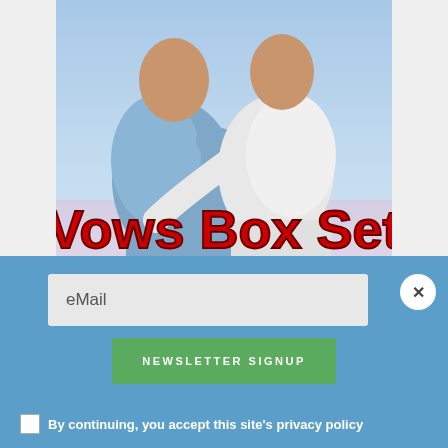[Figure (illustration): Book cover for 'Vows Box Set' by Addison Albright. Shows the backs of two men with arms around each other, one in a blue shirt and one in a white shirt, against a light blue/pink background. Large bold red text reads 'Vows Box Set' and below in gray/white text 'Addison Albright'.]
eMail
NEWSLETTER SIGNUP
By continuing, you accept this site's privacy policy